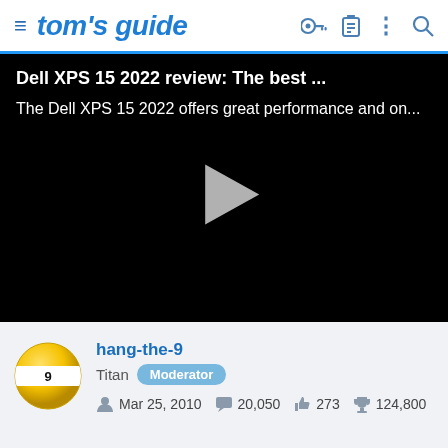tom's guide
[Figure (screenshot): Video thumbnail for Dell XPS 15 2022 review with play button on black background]
hang-the-9
Titan Moderator
Mar 25, 2010   20,050   273   124,800